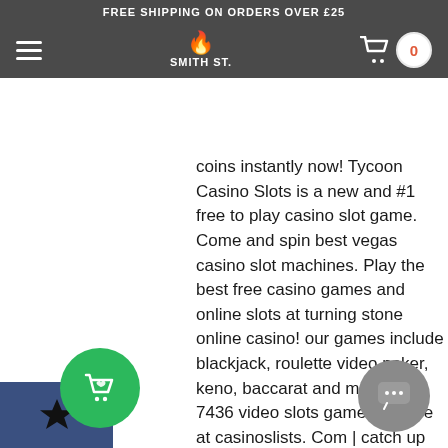FREE SHIPPING ON ORDERS OVER £25
coins instantly now! Tycoon Casino Slots is a new and #1 free to play casino slot game. Come and spin best vegas casino slot machines. Play the best free casino games and online slots at turning stone online casino! our games include blackjack, roulette video poker, keno, baccarat and more! Play 7436 video slots games for free at casinoslists. Com | catch up with all video slots games releases from major online casino software developers. Explore our online casino games anywhere in new jersey. Get $10 free to play slots, blackjack, roulette and video poker. This is easier to learn when compared to video poker games. Free video slots: video slots are the most popular online slots which can be played free. Play online casino games spin amazing slots games. These slot games featured